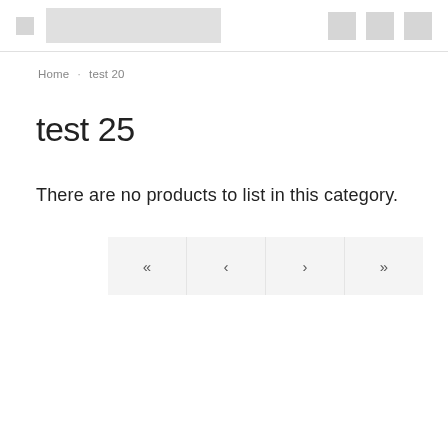[logo placeholder] [navigation icons]
Home · test 20
test 25
There are no products to list in this category.
« ‹ › »